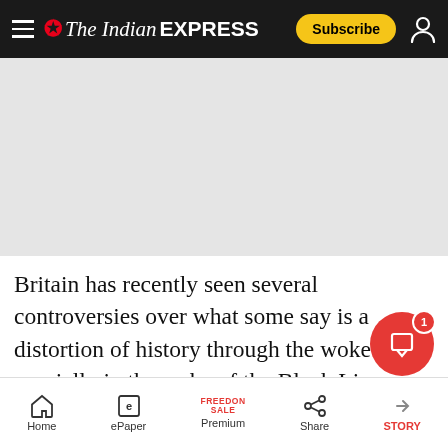The Indian Express — Subscribe
[Figure (other): Advertisement / image placeholder area (light grey rectangle)]
Britain has recently seen several controversies over what some say is a distortion of history through the woke lens, specially in the wake of the Black Lives Matter movement. Others have said closer examination of the less savoury part
Home | ePaper | Premium | Share | STORY